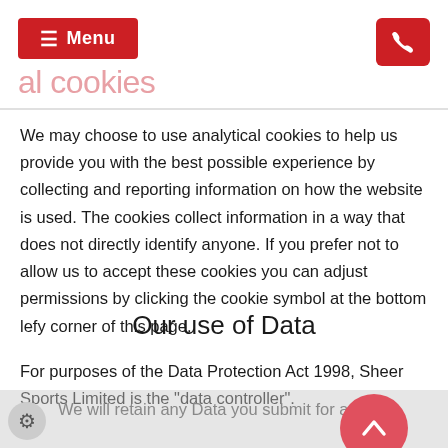Menu | [phone icon]
al cookies
We may choose to use analytical cookies to help us provide you with the best possible experience by collecting and reporting information on how the website is used. The cookies collect information in a way that does not directly identify anyone. If you prefer not to allow us to accept these cookies you can adjust permissions by clicking the cookie symbol at the bottom lefy corner of this page.
Our use of Data
For purposes of the Data Protection Act 1998, Sheer Sports Limited is the "data controller".
We will retain any Data you submit for an unlimited period.